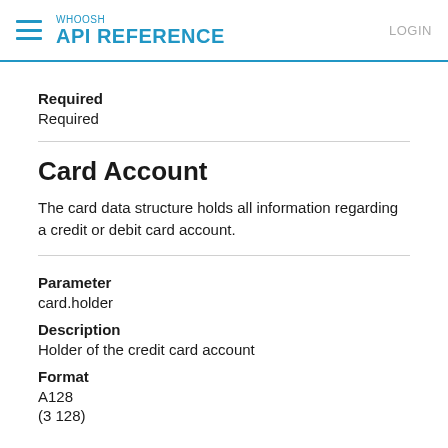WHOOSH API REFERENCE LOGIN
Required
Required
Card Account
The card data structure holds all information regarding a credit or debit card account.
Parameter
card.holder
Description
Holder of the credit card account
Format
A128
(3 128)